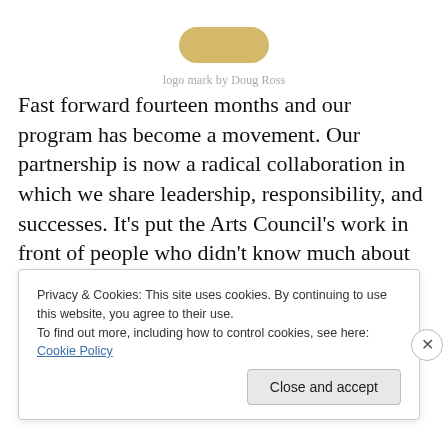[Figure (logo): Logo mark placeholder (rounded gold/tan shape) with caption 'logo mark by Doug Ross']
logo mark by Doug Ross
Fast forward fourteen months and our program has become a movement. Our partnership is now a radical collaboration in which we share leadership, responsibility, and successes. It's put the Arts Council's work in front of people who didn't know much about us. Most importantly, it's bringing the community together to think about our river
Privacy & Cookies: This site uses cookies. By continuing to use this website, you agree to their use.
To find out more, including how to control cookies, see here: Cookie Policy